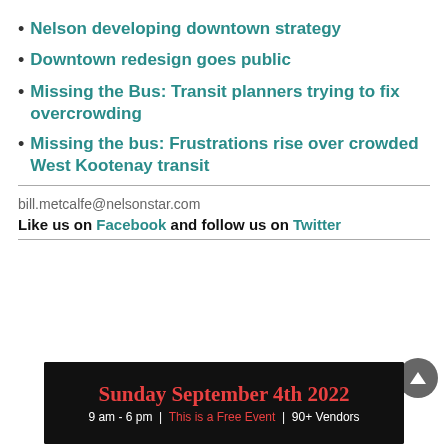Nelson developing downtown strategy
Downtown redesign goes public
Missing the Bus: Transit planners trying to fix overcrowding
Missing the bus: Frustrations rise over crowded West Kootenay transit
bill.metcalfe@nelsonstar.com
Like us on Facebook and follow us on Twitter
[Figure (infographic): Advertisement banner: Sunday September 4th 2022, 9 am - 6 pm | This is a Free Event | 90+ Vendors]